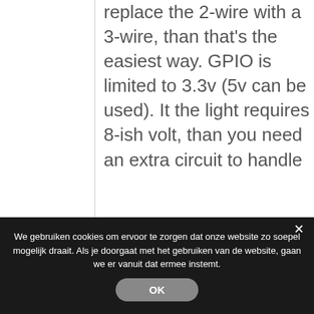replace the 2-wire with a 3-wire, than that's the easiest way. GPIO is limited to 3.3v (5v can be used). It the light requires 8-ish volt, than you need an extra circuit to handle
We gebruiken cookies om ervoor te zorgen dat onze website zo soepel mogelijk draait. Als je doorgaat met het gebruiken van de website, gaan we er vanuit dat ermee instemt.
OK